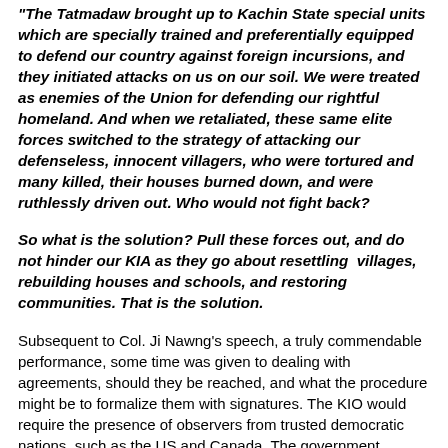"The Tatmadaw brought up to Kachin State special units which are specially trained and preferentially equipped to defend our country against foreign incursions, and they initiated attacks on us on our soil. We were treated as enemies of the Union for defending our rightful homeland. And when we retaliated, these same elite forces switched to the strategy of attacking our defenseless, innocent villagers, who were tortured and many killed, their houses burned down, and were ruthlessly driven out. Who would not fight back?
So what is the solution? Pull these forces out, and do not hinder our KIA as they go about resettling villages, rebuilding houses and schools, and restoring communities. That is the solution.
Subsequent to Col. Ji Nawng's speech, a truly commendable performance, some time was given to dealing with agreements, should they be reached, and what the procedure might be to formalize them with signatures. The KIO would require the presence of observers from trusted democratic nations, such as the US and Canada. The government retorted that this was an internal matter, and that it would be an embarrassment to require